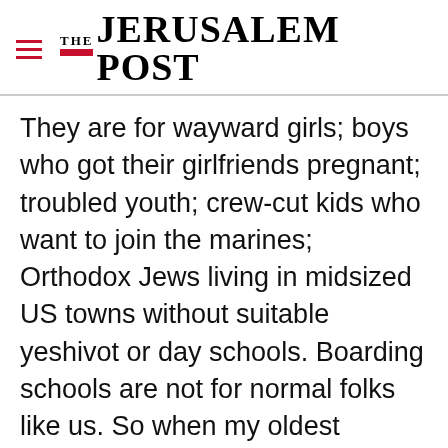THE JERUSALEM POST
They are for wayward girls; boys who got their girlfriends pregnant; troubled youth; crew-cut kids who want to join the marines; Orthodox Jews living in midsized US towns without suitable yeshivot or day schools. Boarding schools are not for normal folks like us. So when my oldest expressed interest in a boarding school, the wife and I were mortified. "You'll be leaving us soon enough," we said, with great prescience. "We
Advertisement